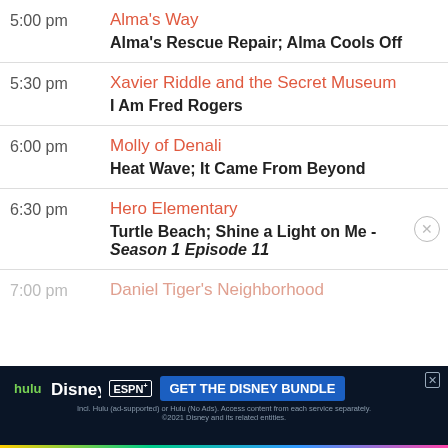5:00 pm — Alma's Way — Alma's Rescue Repair; Alma Cools Off
5:30 pm — Xavier Riddle and the Secret Museum — I Am Fred Rogers
6:00 pm — Molly of Denali — Heat Wave; It Came From Beyond
6:30 pm — Hero Elementary — Turtle Beach; Shine a Light on Me - Season 1 Episode 11
7:00 pm — Daniel Tiger's Neighborhood
[Figure (screenshot): Disney Bundle advertisement banner showing Hulu, Disney+, ESPN+ logos with 'GET THE DISNEY BUNDLE' call to action button]